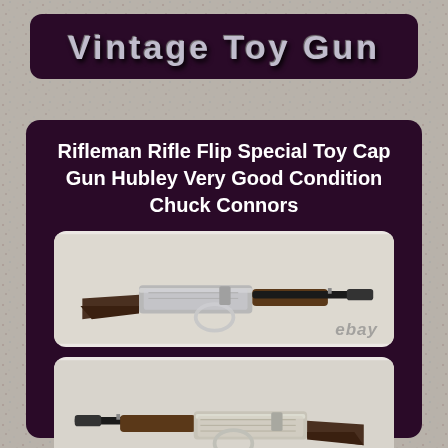Vintage Toy Gun
Rifleman Rifle Flip Special Toy Cap Gun Hubley Very Good Condition Chuck Connors
[Figure (photo): Photo of a vintage Rifleman Rifle Flip Special Toy Cap Gun (Hubley) shown from the left side, with silver metal body, brown wooden stock and forestock, and lever-action mechanism. eBay watermark visible.]
[Figure (photo): Photo of the same vintage Rifleman Rifle Flip Special Toy Cap Gun (Hubley) shown from the right side, reversed orientation, showing the other side of the rifle. eBay watermark visible.]